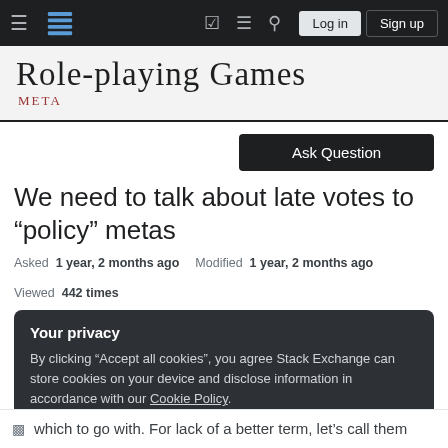Role-playing Games Meta — navigation bar with Log in and Sign up buttons
[Figure (logo): Role-playing Games Meta site header with logo text]
Ask Question
We need to talk about late votes to “policy” metas
Asked 1 year, 2 months ago   Modified 1 year, 2 months ago   Viewed 442 times
Your privacy
By clicking “Accept all cookies”, you agree Stack Exchange can store cookies on your device and disclose information in accordance with our Cookie Policy.
Accept all cookies   Customize settings
which to go with. For lack of a better term, let’s call them